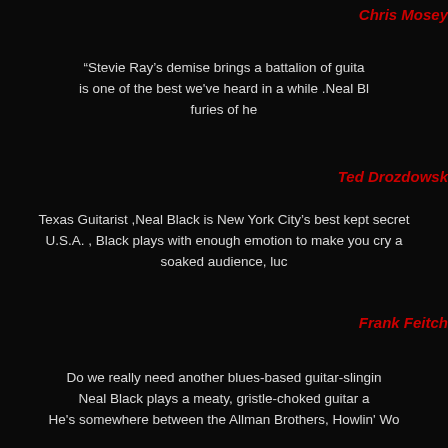Chris Mosey
“Stevie Ray’s demise brings a battalion of guita... is one of the best we’ve heard in a while .Neal Bl... furies of he...
Ted Drozdowsk...
Texas Guitarist ,Neal Black is New York City’s best kept secret ... U.S.A. , Black plays with enough emotion to make you cry a... soaked audience, luc...
Frank Feitch...
Do we really need another blues-based guitar-slingin... Neal Black plays a meaty, gristle-choked guitar ... He’s somewhere between the Allman Brothers, Howlin’ Wo...